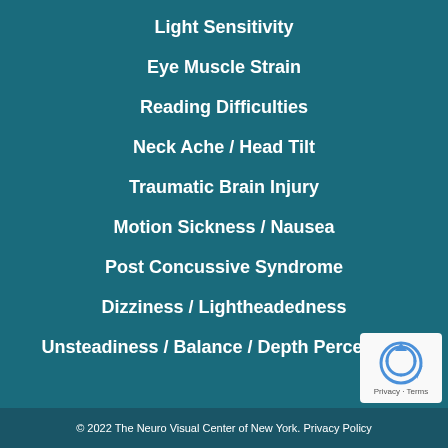Light Sensitivity
Eye Muscle Strain
Reading Difficulties
Neck Ache / Head Tilt
Traumatic Brain Injury
Motion Sickness / Nausea
Post Concussive Syndrome
Dizziness / Lightheadedness
Unsteadiness / Balance / Depth Perception
[Figure (logo): reCAPTCHA badge with Privacy and Terms links]
© 2022 The Neuro Visual Center of New York. Privacy Policy